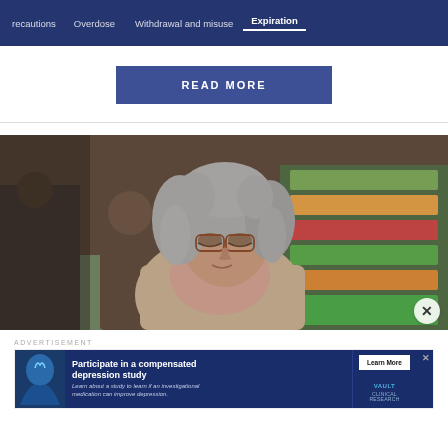Precautions  Overdose  Withdrawal and misuse  Expiration
READ MORE
[Figure (photo): An older woman with gray curly hair and glasses looking down, standing in a grocery store with produce shelves in the background]
ADVERTISEMENT
[Figure (photo): Advertisement banner: Participate in a compensated depression study. Learn about a study to learn if an investigational medication can improve depression. Learn More. VAULT Clinical Research.]